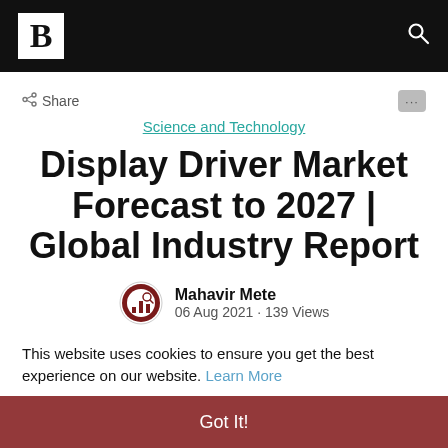B [logo] [search icon]
< Share
Science and Technology
Display Driver Market Forecast to 2027 | Global Industry Report
Mahavir Mete
06 Aug 2021 • 139 Views
This website uses cookies to ensure you get the best experience on our website. Learn More
Got It!